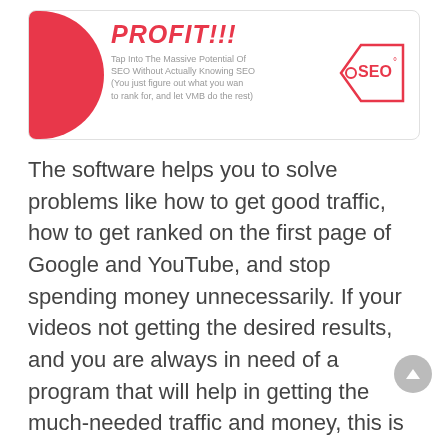[Figure (infographic): Promotional banner with red shape on left, 'PROFIT!!!' title in red italic bold text, subtitle text about SEO, and a red SEO price tag graphic on the right]
The software helps you to solve problems like how to get good traffic, how to get ranked on the first page of Google and YouTube, and stop spending money unnecessarily. If your videos not getting the desired results, and you are always in need of a program that will help in getting the much-needed traffic and money, this is your answer.
The trick lies in working smarter and optimizing things that you can so that you